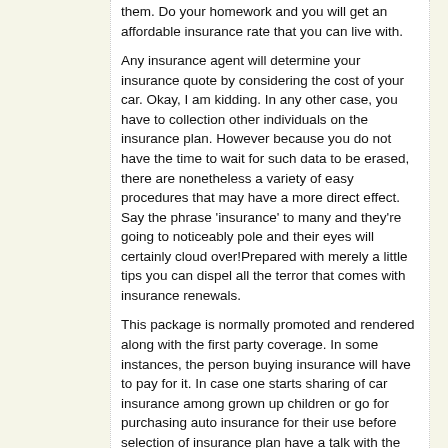them. Do your homework and you will get an affordable insurance rate that you can live with.
Any insurance agent will determine your insurance quote by considering the cost of your car. Okay, I am kidding. In any other case, you have to collection other individuals on the insurance plan. However because you do not have the time to wait for such data to be erased, there are nonetheless a variety of easy procedures that may have a more direct effect.
Say the phrase 'insurance' to many and they're going to noticeably pole and their eyes will certainly cloud over!Prepared with merely a little tips you can dispel all the terror that comes with insurance renewals.
This package is normally promoted and rendered along with the first party coverage. In some instances, the person buying insurance will have to pay for it. In case one starts sharing of car insurance among grown up children or go for purchasing auto insurance for their use before selection of insurance plan have a talk with the insurance agent enquiring all the information. A cheap full coverage auto insurance is one of the options you can take a look at.
You can always compare the policies offered